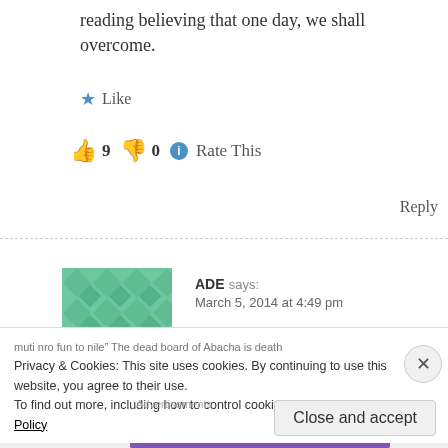reading believing that one day, we shall overcome.
★ Like
👍 9 👎 0 ℹ Rate This
Reply
ADE says:
March 5, 2014 at 4:49 pm
Buy that Abacha boy a copy of album released by Orlando Owoh when Abacha died. " Lojo ti mo gbo'ku Abacha l'abule wa, mo muti muti nro fun to nile" The dead board of Abacha is death website, all jesting. I think I nearly pee on my bed.
Privacy & Cookies: This site uses cookies. By continuing to use this website, you agree to their use.
To find out more, including how to control cookies, see here: Cookie Policy
Close and accept